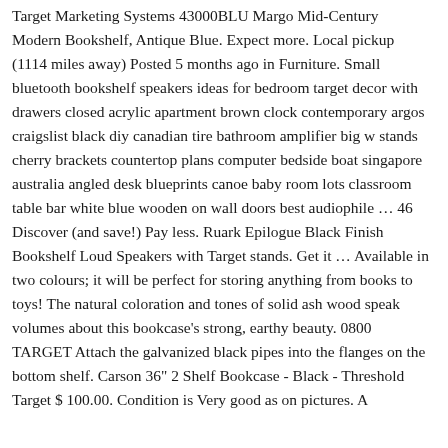Target Marketing Systems 43000BLU Margo Mid-Century Modern Bookshelf, Antique Blue. Expect more. Local pickup (1114 miles away) Posted 5 months ago in Furniture. Small bluetooth bookshelf speakers ideas for bedroom target decor with drawers closed acrylic apartment brown clock contemporary argos craigslist black diy canadian tire bathroom amplifier big w stands cherry brackets countertop plans computer bedside boat singapore australia angled desk blueprints canoe baby room lots classroom table bar white blue wooden on wall doors best audiophile … 46 Discover (and save!) Pay less. Ruark Epilogue Black Finish Bookshelf Loud Speakers with Target stands. Get it … Available in two colours; it will be perfect for storing anything from books to toys! The natural coloration and tones of solid ash wood speak volumes about this bookcase's strong, earthy beauty. 0800 TARGET Attach the galvanized black pipes into the flanges on the bottom shelf. Carson 36" 2 Shelf Bookcase - Black - Threshold Target $ 100.00. Condition is Very good as on pictures. A